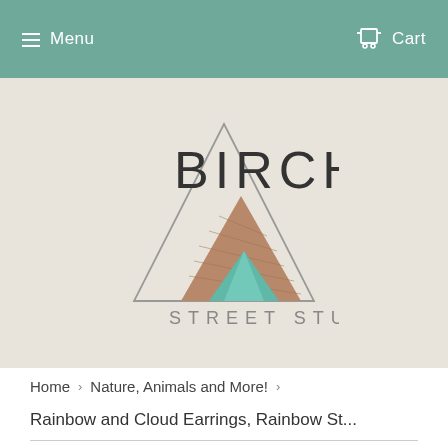Menu  Cart
[Figure (logo): Birch Street Studio logo: geometric triangle outline with mountain shapes inside — wood-textured brown mountains and a teal mountain peak. Text reads BIRCH in large letters and STREET STUDIO below.]
Home › Nature, Animals and More! ›
Rainbow and Cloud Earrings, Rainbow St...